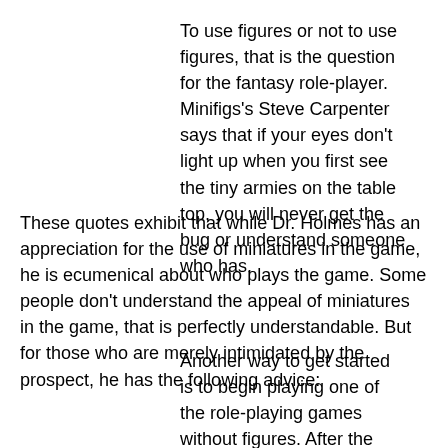To use figures or not to use figures, that is the question for the fantasy role-player. Minifigs's Steve Carpenter says that if your eyes don't light up when you first see the tiny armies on the table top, you will never get the bug or understand someone who has.
These quotes exhibit that while Dr. Holmes has an appreciation for the use of miniatures in the game, he is ecumenical about who plays the game. Some people don't understand the appeal of miniatures in the game, that is perfectly understandable. But for those who are merely intimidated by the prospect, he has the following advice:
Another way to get started is to begin playing one of the role-playing games without figures. After the game has been going for a while and has gained a regular group of players (a few will always drop out or join up after the initial games),